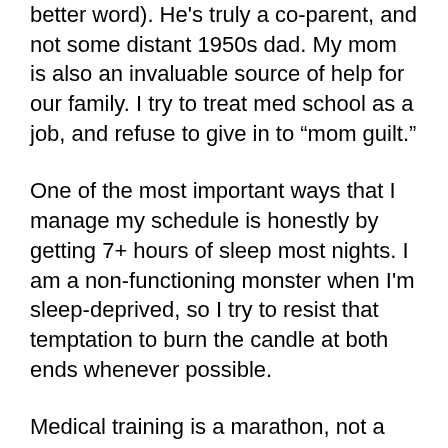better word). He’s truly a co-parent, and not some distant 1950s dad. My mom is also an invaluable source of help for our family. I try to treat med school as a job, and refuse to give in to “mom guilt.”
One of the most important ways that I manage my schedule is honestly by getting 7+ hours of sleep most nights. I am a non-functioning monster when I’m sleep-deprived, so I try to resist that temptation to burn the candle at both ends whenever possible.
Medical training is a marathon, not a sprint. Do not burn yourself out.
What do you wish your med school did